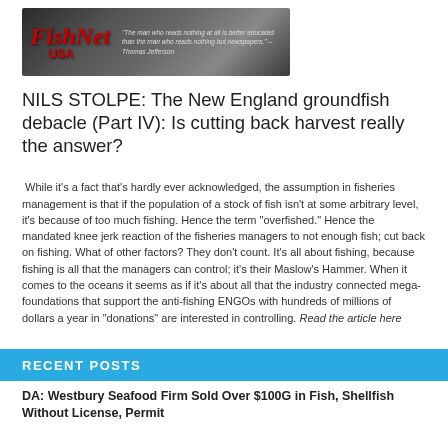[Figure (logo): FishNet USA logo banner with rope/net background texture and Thomas Jefferson quote about reading newspapers]
NILS STOLPE: The New England groundfish debacle (Part IV): Is cutting back harvest really the answer?
While it's a fact that's hardly ever acknowledged, the assumption in fisheries management is that if the population of a stock of fish isn't at some arbitrary level, it's because of too much fishing. Hence the term “overfished.” Hence the mandated knee jerk reaction of the fisheries managers to not enough fish; cut back on fishing. What of other factors? They don’t count. It’s all about fishing, because fishing is all that the managers can control; it’s their Maslow’s Hammer. When it comes to the oceans it seems as if it’s about all that the industry connected mega-foundations that support the anti-fishing ENGOs with hundreds of millions of dollars a year in “donations” are interested in controlling. Read the article here
RECENT POSTS
DA: Westbury Seafood Firm Sold Over $100G in Fish, Shellfish Without License, Permit